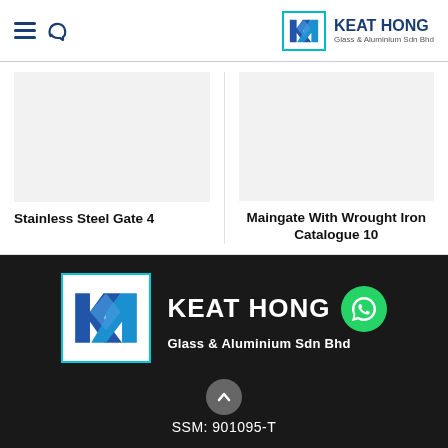KEAT HONG Glass & Aluminium Sdn Bhd
Stainless Steel Gate 4
Maingate With Wrought Iron Catalogue 10
[Figure (logo): Keat Hong Glass & Aluminium Sdn Bhd logo with KH monogram in blue, WhatsApp contact button]
SSM: 901095-T